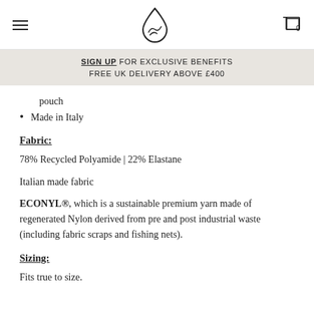SIGN UP FOR EXCLUSIVE BENEFITS
FREE UK DELIVERY ABOVE £400
pouch
Made in Italy
Fabric:
78% Recycled Polyamide | 22% Elastane
Italian made fabric
ECONYL®, which is a sustainable premium yarn made of regenerated Nylon derived from pre and post industrial waste (including fabric scraps and fishing nets).
Sizing:
Fits true to size.